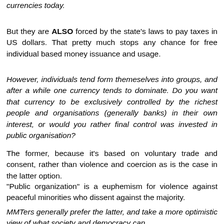currencies today.
But they are ALSO forced by the state's laws to pay taxes in US dollars. That pretty much stops any chance for free individual based money issuance and usage.
However, individuals tend form themeselves into groups, and after a while one currency tends to dominate. Do you want that currency to be exclusively controlled by the richest people and organisations (generally banks) in their own interest, or would you rather final control was invested in public organisation?
The former, because it's based on voluntary trade and consent, rather than violence and coercion as is the case in the latter option.
"Public organization" is a euphemism for violence against peaceful minorities who dissent against the majority.
MMTers generally prefer the latter, and take a more optimistic view of what society and democracy can